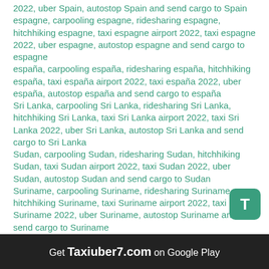2022, uber Spain, autostop Spain and send cargo to Spain
espagne, carpooling espagne, ridesharing espagne, hitchhiking espagne, taxi espagne airport 2022, taxi espagne 2022, uber espagne, autostop espagne and send cargo to espagne
españa, carpooling españa, ridesharing españa, hitchhiking españa, taxi españa airport 2022, taxi españa 2022, uber españa, autostop españa and send cargo to españa
Sri Lanka, carpooling Sri Lanka, ridesharing Sri Lanka, hitchhiking Sri Lanka, taxi Sri Lanka airport 2022, taxi Sri Lanka 2022, uber Sri Lanka, autostop Sri Lanka and send cargo to Sri Lanka
Sudan, carpooling Sudan, ridesharing Sudan, hitchhiking Sudan, taxi Sudan airport 2022, taxi Sudan 2022, uber Sudan, autostop Sudan and send cargo to Sudan
Suriname, carpooling Suriname, ridesharing Suriname, hitchhiking Suriname, taxi Suriname airport 2022, taxi Suriname 2022, uber Suriname, autostop Suriname and send cargo to Suriname
Swaziland, carpooling Swaziland, ridesharing Swaziland, hitchhiking Swaziland, taxi Swaziland airport 2022, taxi Swaziland 2022, uber Swaziland,
[Figure (other): Green rounded square button with white letter T]
Get Taxiuber7.com on Google Play